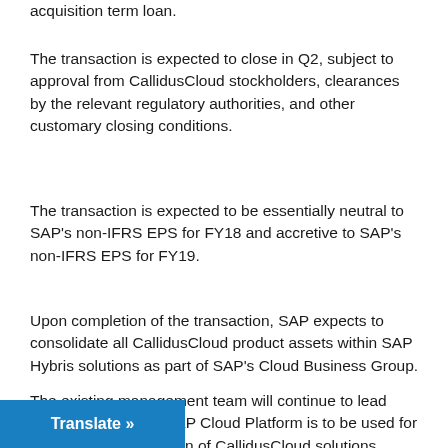acquisition term loan.
The transaction is expected to close in Q2, subject to approval from CallidusCloud stockholders, clearances by the relevant regulatory authorities, and other customary closing conditions.
The transaction is expected to be essentially neutral to SAP's non-IFRS EPS for FY18 and accretive to SAP's non-IFRS EPS for FY19.
Upon completion of the transaction, SAP expects to consolidate all CallidusCloud product assets within SAP Hybris solutions as part of SAP's Cloud Business Group.
The existing management team will continue to lead CallidusCloud. The SAP Cloud Platform is to be used for the integration of CallidusCloud solutions.